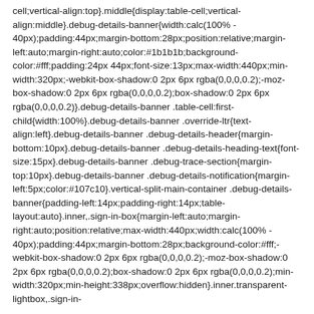cell;vertical-align:top}.middle{display:table-cell;vertical-align:middle}.debug-details-banner{width:calc(100% - 40px);padding:44px;margin-bottom:28px;position:relative;margin-left:auto;margin-right:auto;color:#1b1b1b;background-color:#fff;padding:24px 44px;font-size:13px;max-width:440px;min-width:320px;-webkit-box-shadow:0 2px 6px rgba(0,0,0,0.2);-moz-box-shadow:0 2px 6px rgba(0,0,0,0.2);box-shadow:0 2px 6px rgba(0,0,0,0.2)}.debug-details-banner .table-cell:first-child{width:100%}.debug-details-banner .override-ltr{text-align:left}.debug-details-banner .debug-details-header{margin-bottom:10px}.debug-details-banner .debug-details-heading-text{font-size:15px}.debug-details-banner .debug-trace-section{margin-top:10px}.debug-details-banner .debug-details-notification{margin-left:5px;color:#107c10}.vertical-split-main-container .debug-details-banner{padding-left:14px;padding-right:14px;table-layout:auto}.inner,.sign-in-box{margin-left:auto;margin-right:auto;position:relative;max-width:440px;width:calc(100% - 40px);padding:44px;margin-bottom:28px;background-color:#fff;-webkit-box-shadow:0 2px 6px rgba(0,0,0,0.2);-moz-box-shadow:0 2px 6px rgba(0,0,0,0.2);box-shadow:0 2px 6px rgba(0,0,0,0.2);min-width:320px;min-height:338px;overflow:hidden}.inner.transparent-lightbox,.sign-in-